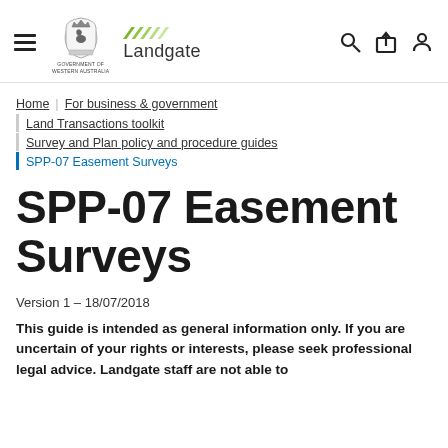Landgate — Government of Western Australia
Home | For business & government | Land Transactions toolkit | Survey and Plan policy and procedure guides | SPP-07 Easement Surveys
SPP-07 Easement Surveys
Version 1 - 18/07/2018
This guide is intended as general information only. If you are uncertain of your rights or interests, please seek professional legal advice. Landgate staff are not able to